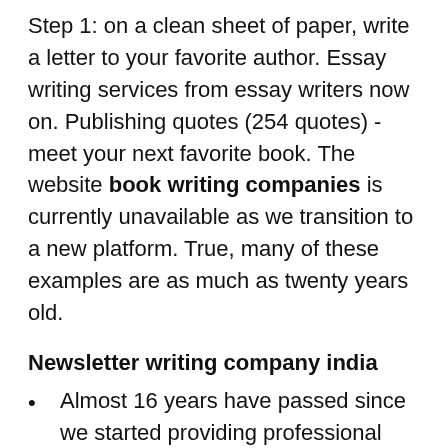Step 1: on a clean sheet of paper, write a letter to your favorite author. Essay writing services from essay writers now on. Publishing quotes (254 quotes) - meet your next favorite book. The website book writing companies is currently unavailable as we transition to a new platform. True, many of these examples are as much as twenty years old.
Newsletter writing company india
Almost 16 years have passed since we started providing professional academic help, but the reasons why students order custom essays online are still the same;
Service book - opening, writing, book writing companies verification - wbxpress;
We specialize in legal transcription, law enforcement transcription, protective service and